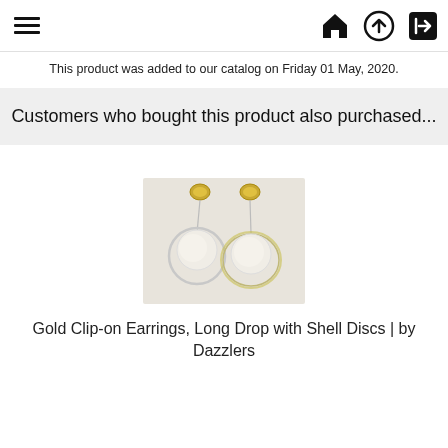☰ [home icon] [upload icon] [login icon]
This product was added to our catalog on Friday 01 May, 2020.
Customers who bought this product also purchased...
[Figure (photo): Two gold clip-on earrings with long drop and white shell discs, photographed against a white background]
Gold Clip-on Earrings, Long Drop with Shell Discs | by Dazzlers